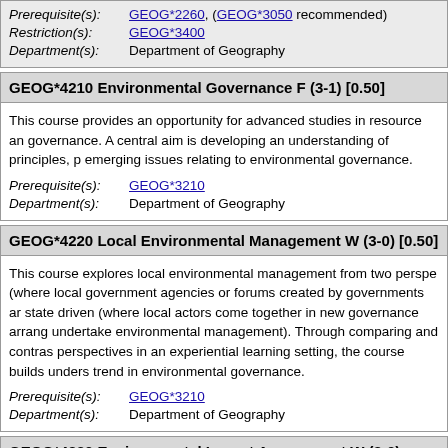Prerequisite(s): GEOG*2260, (GEOG*3050 recommended)
Restriction(s): GEOG*3400
Department(s): Department of Geography
GEOG*4210 Environmental Governance F (3-1) [0.50]
This course provides an opportunity for advanced studies in resource and governance. A central aim is developing an understanding of principles, p emerging issues relating to environmental governance.
Prerequisite(s): GEOG*3210
Department(s): Department of Geography
GEOG*4220 Local Environmental Management W (3-0) [0.50]
This course explores local environmental management from two perspectives (where local government agencies or forums created by governments are state driven (where local actors come together in new governance arrangements to undertake environmental management). Through comparing and contrasting these perspectives in an experiential learning setting, the course builds understanding of a trend in environmental governance.
Prerequisite(s): GEOG*3210
Department(s): Department of Geography
GEOG*4230 Environmental Impact Assessment W (3-0) [0.50]